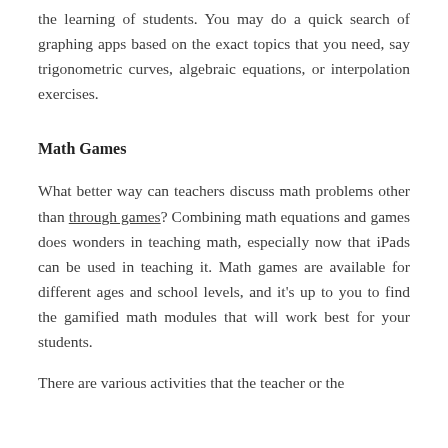the learning of students. You may do a quick search of graphing apps based on the exact topics that you need, say trigonometric curves, algebraic equations, or interpolation exercises.
Math Games
What better way can teachers discuss math problems other than through games? Combining math equations and games does wonders in teaching math, especially now that iPads can be used in teaching it. Math games are available for different ages and school levels, and it's up to you to find the gamified math modules that will work best for your students.
There are various activities that the teacher or the